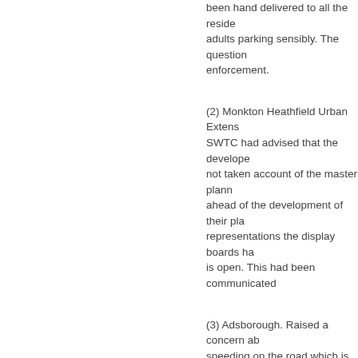been hand delivered to all the residents adults parking sensibly. The question enforcement.
(2) Monkton Heathfield Urban Extens... SWTC had advised that the developer not taken account of the master plann ahead of the development of their pla representations the display boards ha is open. This had been communicated
(3) Adsborough. Raised a concern ab speeding on the road which is subject
(4) Bull St waste bin. Asked for an up
(5) Rocketts Cottages Parking. Advise and BB suggested the signing was to
19/81. Planning Applications: The foll